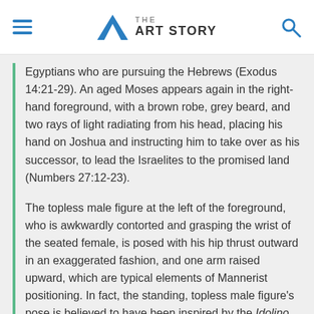THE ART STORY
Egyptians who are pursuing the Hebrews (Exodus 14:21-29). An aged Moses appears again in the right-hand foreground, with a brown robe, grey beard, and two rays of light radiating from his head, placing his hand on Joshua and instructing him to take over as his successor, to lead the Israelites to the promised land (Numbers 27:12-23).

The topless male figure at the left of the foreground, who is awkwardly contorted and grasping the wrist of the seated female, is posed with his hip thrust outward in an exaggerated fashion, and one arm raised upward, which are typical elements of Mannerist positioning. In fact, the standing, topless male figure's pose is believed to have been inspired by the Idolino, a Roman copy of a Greek bronze statue discovered in an excavation of Pesaro in 1530